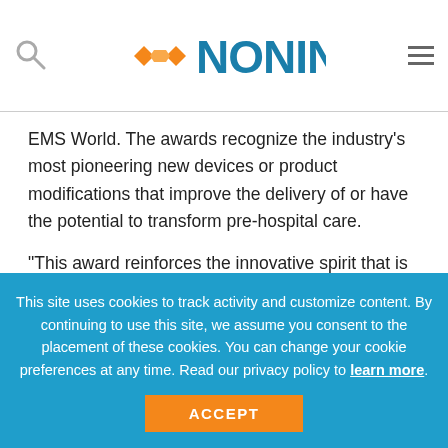NONIN (logo with search and menu icons)
EMS World. The awards recognize the industry's most pioneering new devices or product modifications that improve the delivery of or have the potential to transform pre-hospital care.
"This award reinforces the innovative spirit that is central to our mission at Nonin. Our teams worked tirelessly on this product and we are proud to be
This site uses cookies to track activity and customize content. By continuing to use this site, we assume you consent to the placement of these cookies. You can change your cookie preferences at any time. Read our privacy policy to learn more.
ACCEPT